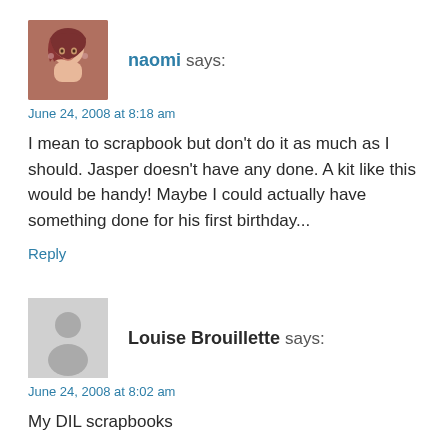[Figure (photo): Avatar photo of naomi - woman with reddish-brown hair]
naomi says:
June 24, 2008 at 8:18 am
I mean to scrapbook but don't do it as much as I should. Jasper doesn't have any done. A kit like this would be handy! Maybe I could actually have something done for his first birthday...
Reply
[Figure (illustration): Generic placeholder avatar silhouette on grey background]
Louise Brouillette says:
June 24, 2008 at 8:02 am
My DIL scrapbooks